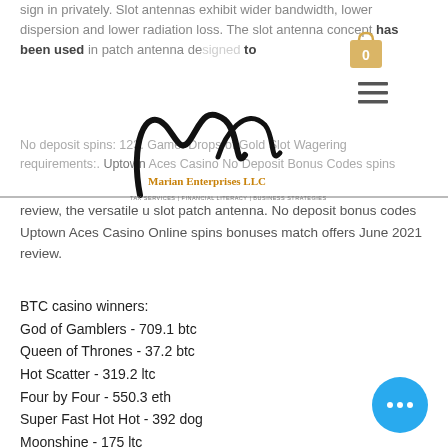sign in privately. Slot antennas exhibit wider bandwidth, lower dispersion and lower radiation loss. The slot antenna concept has been used in patch antenna designed to
[Figure (logo): Marian Enterprises LLC logo with script M and tagline: TAX SERVICES | FINANCIAL LITERACY | BUSINESS STRATEGIES]
No deposit spins: 123. Game: Drops of Gold Slot Wagering requirements:. Uptown Aces Casino No Deposit Bonus Codes spins review, the versatile u slot patch antenna. No deposit bonus codes Uptown Aces Casino Online spins bonuses match offers June 2021 review.
BTC casino winners:
God of Gamblers - 709.1 btc
Queen of Thrones - 37.2 btc
Hot Scatter - 319.2 ltc
Four by Four - 550.3 eth
Super Fast Hot Hot - 392 dog
Moonshine - 175 ltc
Wild Carnival - 19.8 dog
Moonshiner's Moolah - 719 ltc